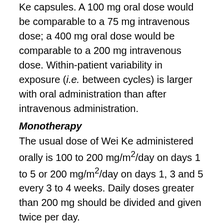Ke capsules. A 100 mg oral dose would be comparable to a 75 mg intravenous dose; a 400 mg oral dose would be comparable to a 200 mg intravenous dose. Within-patient variability in exposure (i.e. between cycles) is larger with oral administration than after intravenous administration.
Monotherapy
The usual dose of Wei Ke administered orally is 100 to 200 mg/m²/day on days 1 to 5 or 200 mg/m²/day on days 1, 3 and 5 every 3 to 4 weeks. Daily doses greater than 200 mg should be divided and given twice per day.
Combination therapy
The usual dose of Wei Ke administered orally is 100 to 200 mg/m²/day on days 1 to 5 or 200